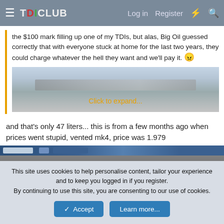TDICLUB | Log in | Register
the $100 mark filling up one of my TDIs, but alas, Big Oil guessed correctly that with everyone stuck at home for the last two years, they could charge whatever the hell they want and we'll pay it. 😠
[Figure (screenshot): Blurred screenshot with orange 'Click to expand...' link]
and that's only 47 liters... this is from a few months ago when prices went stupid, vented mk4, price was 1.979
[Figure (screenshot): Screenshot of a webpage, partially visible, blurred]
This site uses cookies to help personalise content, tailor your experience and to keep you logged in if you register.
By continuing to use this site, you are consenting to our use of cookies.